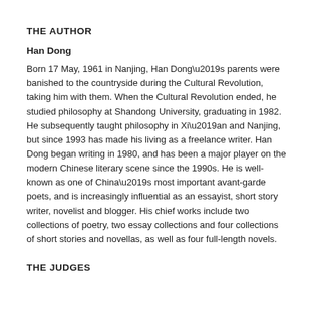THE AUTHOR
Han Dong
Born 17 May, 1961 in Nanjing, Han Dong’s parents were banished to the countryside during the Cultural Revolution, taking him with them. When the Cultural Revolution ended, he studied philosophy at Shandong University, graduating in 1982. He subsequently taught philosophy in Xi’an and Nanjing, but since 1993 has made his living as a freelance writer. Han Dong began writing in 1980, and has been a major player on the modern Chinese literary scene since the 1990s. He is well-known as one of China’s most important avant-garde poets, and is increasingly influential as an essayist, short story writer, novelist and blogger. His chief works include two collections of poetry, two essay collections and four collections of short stories and novellas, as well as four full-length novels.
THE JUDGES